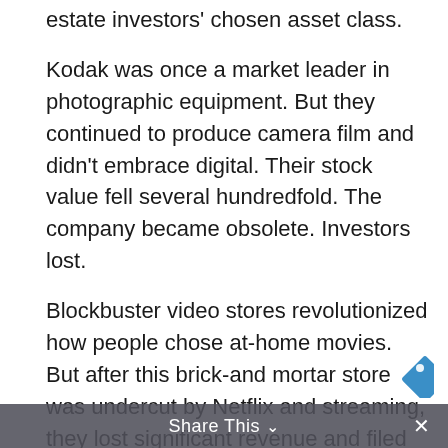estate investors' chosen asset class.
Kodak was once a market leader in photographic equipment. But they continued to produce camera film and didn't embrace digital. Their stock value fell several hundredfold. The company became obsolete. Investors lost.
Blockbuster video stores revolutionized how people chose at-home movies. But after this brick-and mortar store was undercut by Netflix and streaming, they lost significant revenue and filed for bankruptcy. The digital download made this an out-of-style model. Investors lost.
Share This